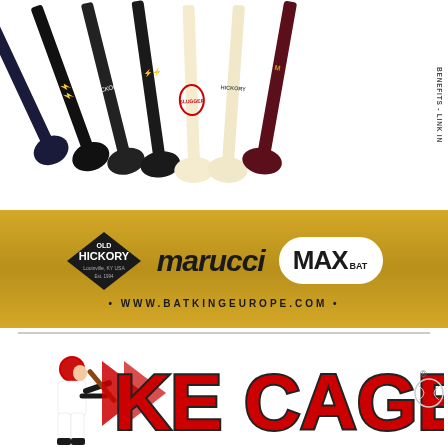[Figure (photo): Seven baseball bats arranged diagonally from top-left to bottom-right against a white background, featuring various brands including Old Hickory and MaxBat, in colors of black, dark blue, cream/natural wood]
[Figure (illustration): Vertical rotated text on the right side reading 'ALWAYS IN STOCK' in gold/amber color, with bullet points below reading '• CREATE YOUR ACCOUNT - • BATCOINS AND APPLY FO• BENEFITS - LINK IN']
[Figure (logo): Gold banner with three brand logos: Old Hickory (diamond shape), marucci (italic text), and MAX BAT (oval badge), with website www.batkingeurope.com below]
[Figure (logo): The Cage sports logo — a baseball batter silhouette on the left with large red and white stylized text 'THE CAGE' and a small baseball icon with registered trademark symbol on the right]